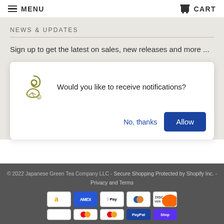MENU  CART
NEWS & UPDATES
Sign up to get the latest on sales, new releases and more ...
Would you like to receive notifications?
No, thanks  Allow
© 2022 Japanese Green Tea Company LLC - Secure Shopping Protected by Shopify Inc. - Privacy and Terms